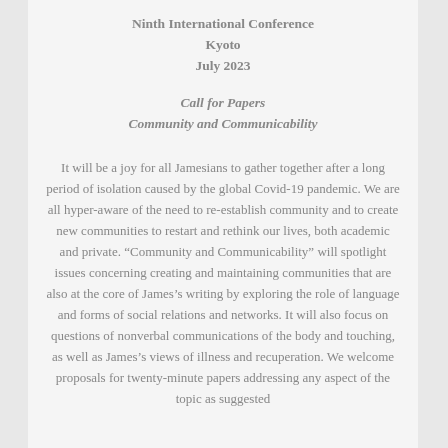Ninth International Conference
Kyoto
July 2023
Call for Papers
Community and Communicability
It will be a joy for all Jamesians to gather together after a long period of isolation caused by the global Covid-19 pandemic. We are all hyper-aware of the need to re-establish community and to create new communities to restart and rethink our lives, both academic and private. “Community and Communicability” will spotlight issues concerning creating and maintaining communities that are also at the core of James’s writing by exploring the role of language and forms of social relations and networks. It will also focus on questions of nonverbal communications of the body and touching, as well as James’s views of illness and recuperation. We welcome proposals for twenty-minute papers addressing any aspect of the topic as suggested